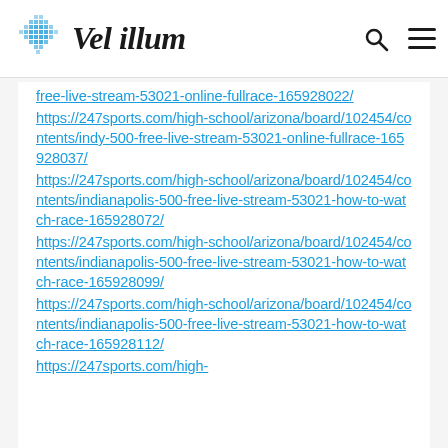Vel illum
https://247sports.com/high-school/arizona/board/102454/contents/indy-500-free-live-stream-53021-online-fullrace-165928022/
https://247sports.com/high-school/arizona/board/102454/contents/indy-500-free-live-stream-53021-online-fullrace-165928037/
https://247sports.com/high-school/arizona/board/102454/contents/indianapolis-500-free-live-stream-53021-how-to-watch-race-165928072/
https://247sports.com/high-school/arizona/board/102454/contents/indianapolis-500-free-live-stream-53021-how-to-watch-race-165928099/
https://247sports.com/high-school/arizona/board/102454/contents/indianapolis-500-free-live-stream-53021-how-to-watch-race-165928112/
https://247sports.com/high-